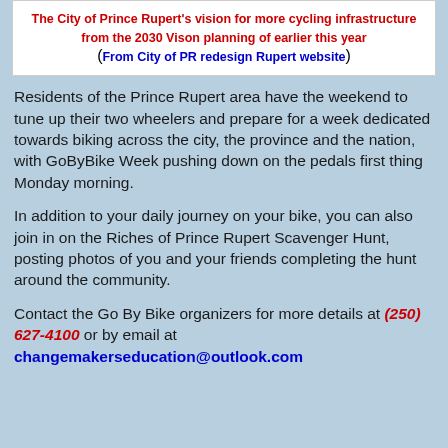The City of Prince Rupert's vision for more cycling infrastructure from the 2030 Vison planning of earlier this year (From City of PR redesign Rupert website)
Residents of the Prince Rupert area have the weekend to tune up their two wheelers and prepare for a week dedicated towards biking across the city, the province and the nation, with GoByBike Week pushing down on the pedals first thing Monday morning.
In addition to your daily journey on your bike, you can also join in on the Riches of Prince Rupert Scavenger Hunt, posting photos of you and your friends completing the hunt around the community.
Contact the Go By Bike organizers for more details at (250) 627-4100 or by email at changemakerseducation@outlook.com